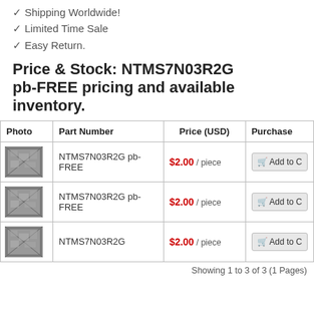✓ Ship Out Your Order Same Day.
✓ Shipping Worldwide!
✓ Limited Time Sale
✓ Easy Return.
Price & Stock: NTMS7N03R2G pb-FREE pricing and available inventory.
| Photo | Part Number | Price (USD) | Purchase |
| --- | --- | --- | --- |
| [img] | NTMS7N03R2G pb-FREE | $2.00 / piece | Add to Cart |
| [img] | NTMS7N03R2G pb-FREE | $2.00 / piece | Add to Cart |
| [img] | NTMS7N03R2G | $2.00 / piece | Add to Cart |
Showing 1 to 3 of 3 (1 Pages)